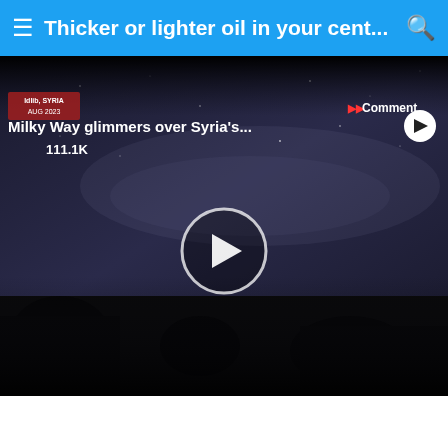≡ Thicker or lighter oil in your cent... 🔍
[Figure (screenshot): Video thumbnail showing the Milky Way over Syria's Idlib. Location badge reads 'Idlib, SYRIA'. Title text: 'Milky Way glimmers over Syria's...'. View count: 111.1K. Comment button visible top right. Play button circle in center. Dark night sky with silhouettes of people at bottom.]